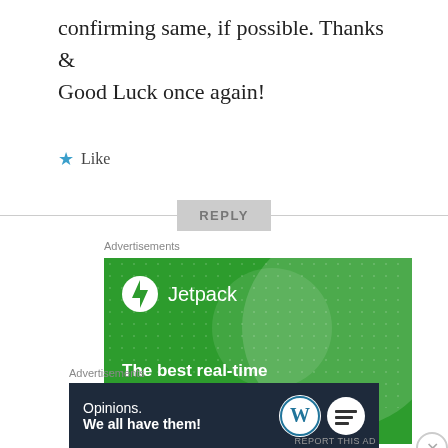confirming same, if possible. Thanks & Good Luck once again!
Like
REPLY
Advertisements
[Figure (illustration): Jetpack advertisement banner: green background with large semi-transparent circles and dot pattern. Jetpack logo (lightning bolt in circle) with text 'Jetpack'. Tagline: 'The best real-time WordPress backup plugin']
Advertisements
[Figure (illustration): Dark navy advertisement banner: 'Opinions. We all have them!' with WordPress logo and another circular logo on right side.]
REPORT THIS AD